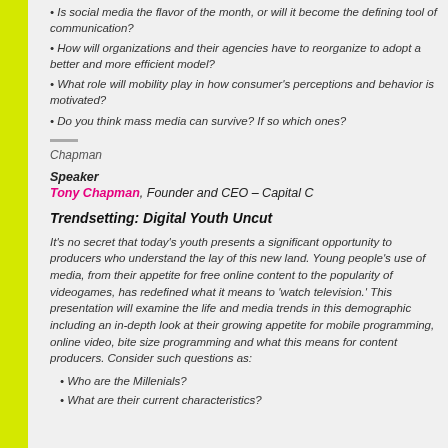• Is social media the flavor of the month, or will it become the defining tool of communication?
• How will organizations and their agencies have to reorganize to adopt a better and more efficient model?
• What role will mobility play in how consumer's perceptions and behavior is motivated?
• Do you think mass media can survive? If so which ones?
Chapman
Speaker
Tony Chapman, Founder and CEO – Capital C
Trendsetting: Digital Youth Uncut
It's no secret that today's youth presents a significant opportunity to producers who understand the lay of this new land. Young people's use of media, from their appetite for free online content to the popularity of videogames, has redefined what it means to 'watch television.' This presentation will examine the life and media trends in this demographic including an in-depth look at their growing appetite for mobile programming, online video, bite size programming and what this means for content producers. Consider such questions as:
• Who are the Millenials?
• What are their current characteristics?